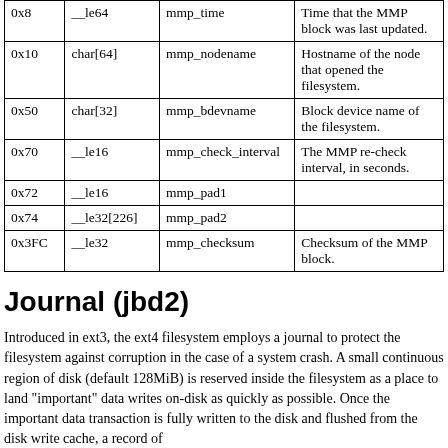| Offset | Type | Name | Description |
| --- | --- | --- | --- |
| 0x8 | __le64 | mmp_time | Time that the MMP block was last updated. |
| 0x10 | char[64] | mmp_nodename | Hostname of the node that opened the filesystem. |
| 0x50 | char[32] | mmp_bdevname | Block device name of the filesystem. |
| 0x70 | __le16 | mmp_check_interval | The MMP re-check interval, in seconds. |
| 0x72 | __le16 | mmp_pad1 |  |
| 0x74 | __le32[226] | mmp_pad2 |  |
| 0x3FC | __le32 | mmp_checksum | Checksum of the MMP block. |
Journal (jbd2)
Introduced in ext3, the ext4 filesystem employs a journal to protect the filesystem against corruption in the case of a system crash. A small continuous region of disk (default 128MiB) is reserved inside the filesystem as a place to land "important" data writes on-disk as quickly as possible. Once the important data transaction is fully written to the disk and flushed from the disk write cache, a record of